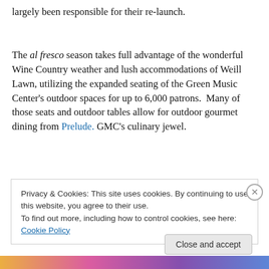largely been responsible for their re-launch.

The al fresco season takes full advantage of the wonderful Wine Country weather and lush accommodations of Weill Lawn, utilizing the expanded seating of the Green Music Center's outdoor spaces for up to 6,000 patrons.  Many of those seats and outdoor tables allow for outdoor gourmet dining from Prelude. GMC's culinary jewel.
Privacy & Cookies: This site uses cookies. By continuing to use this website, you agree to their use.
To find out more, including how to control cookies, see here: Cookie Policy